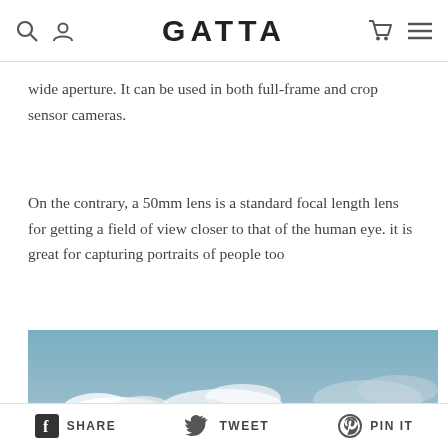GATTA
wide aperture. It can be used in both full-frame and crop sensor cameras.
On the contrary, a 50mm lens is a standard focal length lens for getting a field of view closer to that of the human eye. it is great for capturing portraits of people too
[Figure (photo): A wide-angle photograph of a sky with white clouds against a muted blue-grey background]
SHARE  TWEET  PIN IT